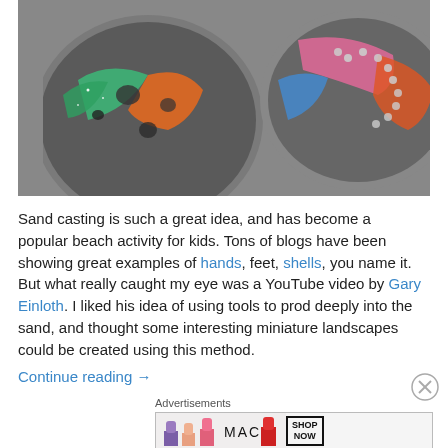[Figure (photo): Close-up photo of colorful sand castings in circular molds with glitter and decorative elements in green, orange, pink, blue, and gray tones]
Sand casting is such a great idea, and has become a popular beach activity for kids. Tons of blogs have been showing great examples of hands, feet, shells, you name it. But what really caught my eye was a YouTube video by Gary Einloth. I liked his idea of using tools to prod deeply into the sand, and thought some interesting miniature landscapes could be created using this method.
Continue reading →
Advertisements
[Figure (photo): MAC cosmetics advertisement showing colorful lipsticks with MAC logo and SHOP NOW button]